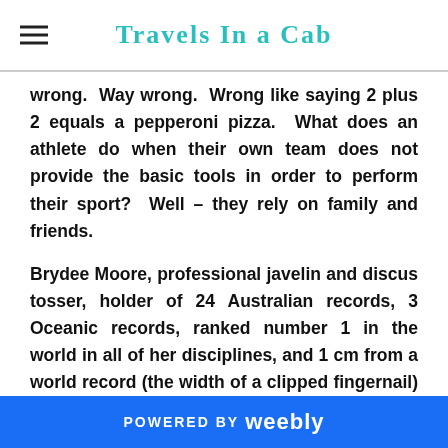Travels In a Cab
wrong.  Way wrong.  Wrong like saying 2 plus 2 equals a pepperoni pizza.  What does an athlete do when their own team does not provide the basic tools in order to perform their sport?  Well – they rely on family and friends.
Brydee Moore, professional javelin and discus tosser, holder of 24 Australian records, 3 Oceanic records, ranked number 1 in the world in all of her disciplines, and 1 cm from a world record (the width of a clipped fingernail) was one of those athletes who was not provided with the basic tools, yet managed to still perform for her team and country – and did so with
POWERED BY weebly